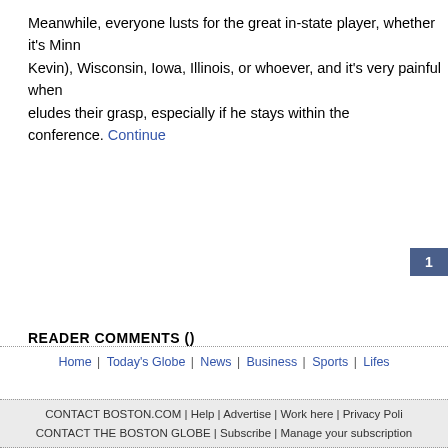Meanwhile, everyone lusts for the great in-state player, whether it's Minn (Kevin), Wisconsin, Iowa, Illinois, or whoever, and it's very painful when eludes their grasp, especially if he stays within the conference. Continued
1
READER COMMENTS ()
Home | Today's Globe | News | Business | Sports | Lifes
CONTACT BOSTON.COM | Help | Advertise | Work here | Privacy Poli CONTACT THE BOSTON GLOBE | Subscribe | Manage your subscription